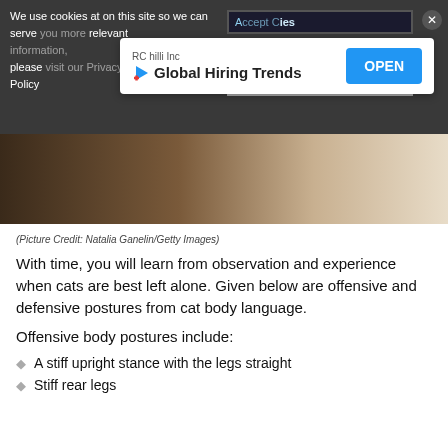We use cookies at on this site so we can serve you more relevant content. For more information, please visit our Privacy and Cookie Information Policy
[Figure (screenshot): Ad banner for RC hilli Inc showing 'Global Hiring Trends' with an OPEN button]
[Figure (photo): Photo of a cat, dark tones, Picture Credit: Natalia Ganelin/Getty Images]
(Picture Credit: Natalia Ganelin/Getty Images)
With time, you will learn from observation and experience when cats are best left alone. Given below are offensive and defensive postures from cat body language.
Offensive body postures include:
A stiff upright stance with the legs straight
Stiff rear legs